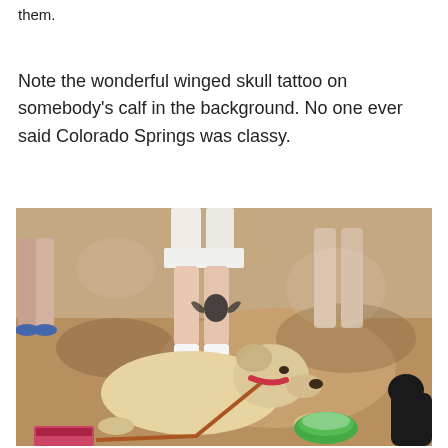them.
Note the wonderful winged skull tattoo on somebody's calf in the background. No one ever said Colorado Springs was classy.
[Figure (photo): Outdoor photo showing a yellow Labrador dog lying on the ground with a red/brown leash, a green water bowl nearby, and a black dog partially visible at the right edge. People's legs are visible in the background, one person wearing white shorts with a winged skull tattoo on their calf. Sandy/dirt ground with dappled shade.]